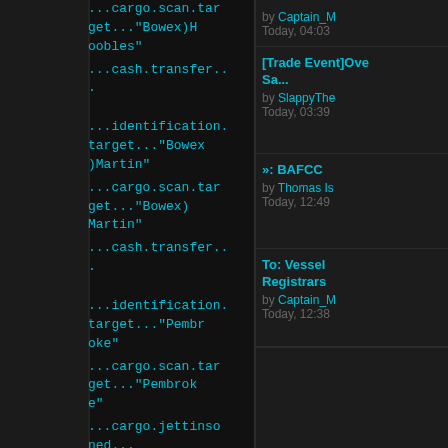...cargo.scan.target..."Bowex)Hoobles"
...cash.transfer...
.
...identification.target..."Bowex)Martin"
...cargo.scan.target..."Bowex)Martin"
...cash.transfer...
.
...identification.target..."Pembroke"
...cargo.scan.target..."Pembroke"
...cargo.jettisoned...
...identification.
by Captain_M
Today, 04:03
[Trade Event]Ove Sa...
by SlappyThe
Today, 03:39
»: BAFCC
by Thomas Is
Today, 12:49
To: Vessel Registrars
by Captain_M
Today, 12:38